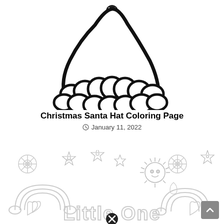[Figure (illustration): Black and white line drawing of a Santa hat (coloring page style) with a fluffy pompom at top and scalloped white trim at the bottom. A close/cancel button (circled X) appears at the top center of the image.]
Christmas Santa Hat Coloring Page
January 11, 2022
[Figure (illustration): Partial view of a coloring page titled 'Little One' featuring kawaii-style stars, snowflakes, rainbows, sun with a face, hearts, and clouds in light gray outlines. A close/cancel button (circled X) appears at the bottom center.]